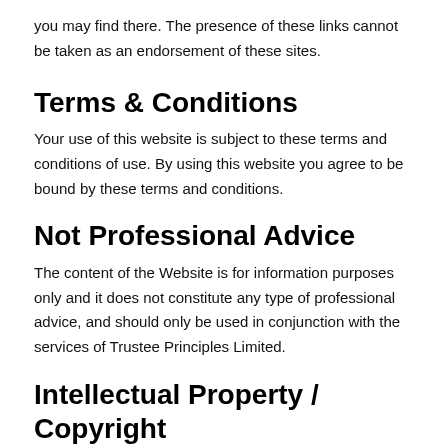you may find there. The presence of these links cannot be taken as an endorsement of these sites.
Terms & Conditions
Your use of this website is subject to these terms and conditions of use. By using this website you agree to be bound by these terms and conditions.
Not Professional Advice
The content of the Website is for information purposes only and it does not constitute any type of professional advice, and should only be used in conjunction with the services of Trustee Principles Limited.
Intellectual Property / Copyright
All intellectual property rights in the design and layout of the Website and the material and information published on the pages of